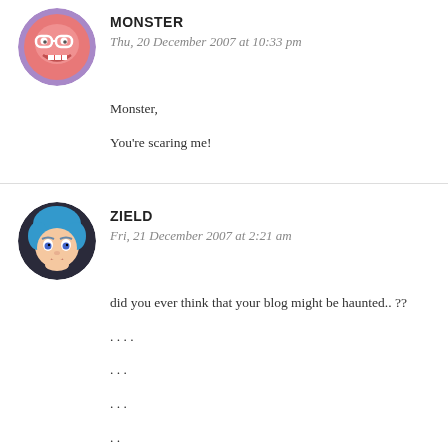[Figure (illustration): Round avatar with pink cartoon monster face with glasses on purple circle background]
MONSTER
Thu, 20 December 2007 at 10:33 pm
Monster,

You're scaring me!
[Figure (illustration): Round avatar with anime-style character with blue hair on dark background]
ZIELD
Fri, 21 December 2007 at 2:21 am
did you ever think that your blog might be haunted.. ??

. . . .
. . .
. . .
. .

you know this strange feeling that makes me want to visit here from time to time.. im positive that this blog is haunted.. :P